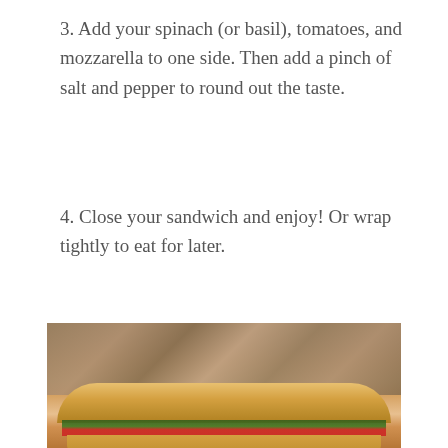3. Add your spinach (or basil), tomatoes, and mozzarella to one side. Then add a pinch of salt and pepper to round out the taste.
4. Close your sandwich and enjoy! Or wrap tightly to eat for later.
Advertisements
[Figure (other): Longreads advertisement banner on dark red background with text: The best stories on the web – ours, and everyone else's.]
[Figure (photo): Photo of a baguette sandwich on a wooden cutting board with granite counter in background, showing layers of greens and fillings.]